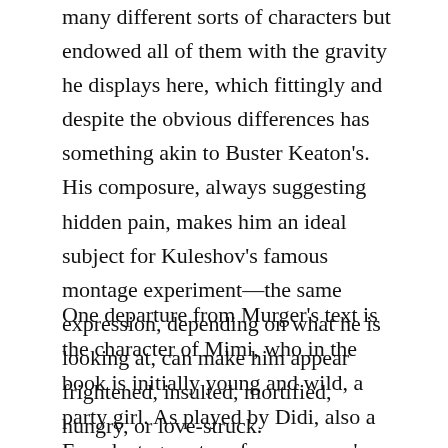many different sorts of characters but endowed all of them with the gravity he displays here, which fittingly and despite the obvious differences has something akin to Buster Keaton's. His composure, always suggesting hidden pain, makes him an ideal subject for Kuleshov's famous montage experiment—the same expression, depending on what he is looking at, can make him appear frightened, insulted, mortified, hungry, or love-struck.
One departure from Murger's text is the character of Mimi, who in the book is initially young and wild, a party girl. As played by Didi, also a French stage actor of many years' standing, she is not only more mature but, from her first appearance, a